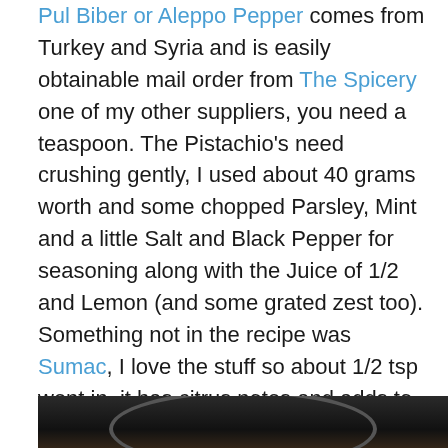Pul Biber or Aleppo Pepper comes from Turkey and Syria and is easily obtainable mail order from The Spicery one of my other suppliers, you need a teaspoon. The Pistachio's need crushing gently, I used about 40 grams worth and some chopped Parsley, Mint and a little Salt and Black Pepper for seasoning along with the Juice of 1/2 and Lemon (and some grated zest too). Something not in the recipe was Sumac, I love the stuff so about 1/2 tsp went in, it has citrus notes and adds to counteract the fat content of the Lamb, the mixture is bound together with some beaten egg. The book says 2 and if the mixture is too wet add some flour. I took one beaten egg and added it slowly, no flour needed at all. At this point you could take a small amount of the mixed and fry up to test the flavours if you want too. Cover and put in the fridge until ready.
[Figure (photo): Bottom portion of a dark photo showing what appears to be a pan or bowl, partially visible at the bottom of the page.]